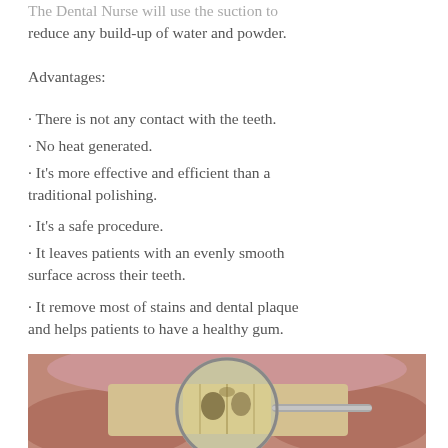The Dental Nurse will use the suction to reduce any build-up of water and powder.
Advantages:
· There is not any contact with the teeth.
· No heat generated.
· It's more effective and efficient than a traditional polishing.
· It's a safe procedure.
· It leaves patients with an evenly smooth surface across their teeth.
· It remove most of stains and dental plaque and helps patients to have a healthy gum.
[Figure (photo): Close-up dental photograph showing teeth being examined with a dental mirror, revealing plaque and staining on molars, with visible gum tissue.]